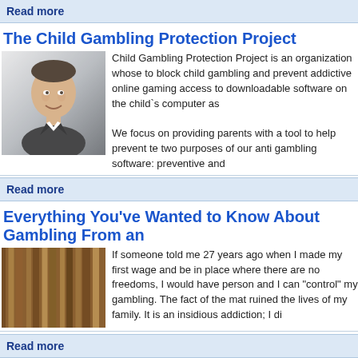Read more
The Child Gambling Protection Project
[Figure (photo): Headshot of a young man in a dark suit with white shirt, smiling, against a light background]
Child Gambling Protection Project is an organization whose to block child gambling and prevent addictive online gaming access to downloadable software on the child`s computer as
We focus on providing parents with a tool to help prevent te two purposes of our anti gambling software: preventive and
Read more
Everything You've Wanted to Know About Gambling From an
[Figure (photo): Close-up image of wood grain texture]
If someone told me 27 years ago when I made my first wage and be in place where there are no freedoms, I would have person and I can "control" my gambling. The fact of the mat ruined the lives of my family. It is an insidious addiction; I di
Read more